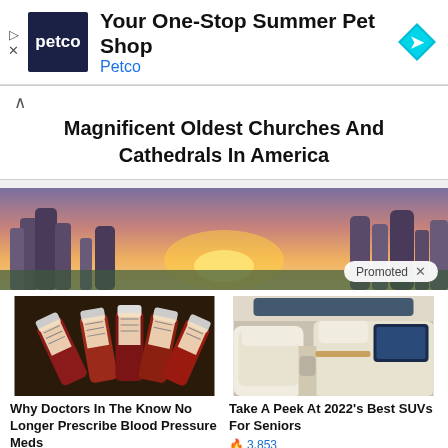[Figure (screenshot): Petco advertisement banner with logo, 'Your One-Stop Summer Pet Shop' heading, 'Petco' blue subtitle, and a cyan diamond-shaped arrow icon. Play and X icons on left.]
Magnificent Oldest Churches And Cathedrals In America
[Figure (photo): Landscape banner photo of rock formations (tufa towers) at sunset with purple and orange sky. Promoted × badge overlay.]
[Figure (photo): Thumbnail of multiple prescription medication bottles arranged in a fan pattern.]
Why Doctors In The Know No Longer Prescribe Blood Pressure Meds
🔥 110,961
[Figure (photo): Thumbnail of luxury SUV interior with white leather seats and entertainment screens.]
Take A Peek At 2022's Best SUVs For Seniors
🔥 3,853